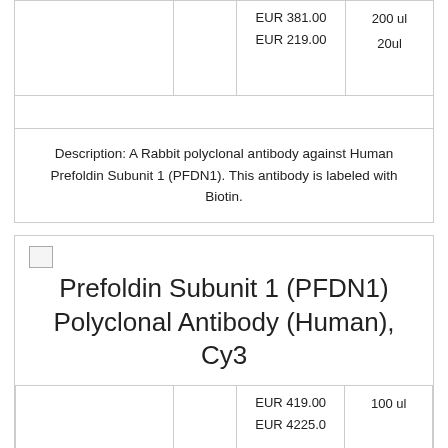|  |  | Price | Size |
| --- | --- | --- | --- |
|  |  | EUR 381.00
EUR 219.00 | 200 ul
20ul |
|  |  |  |  |
| --- | --- | --- | --- |
|  |  |  |  |
Description: A Rabbit polyclonal antibody against Human Prefoldin Subunit 1 (PFDN1). This antibody is labeled with Biotin.
Prefoldin Subunit 1 (PFDN1) Polyclonal Antibody (Human), Cy3
|  |  | Price | Size |
| --- | --- | --- | --- |
|  |  | EUR 419.00
EUR 4225.0 | 100 ul |